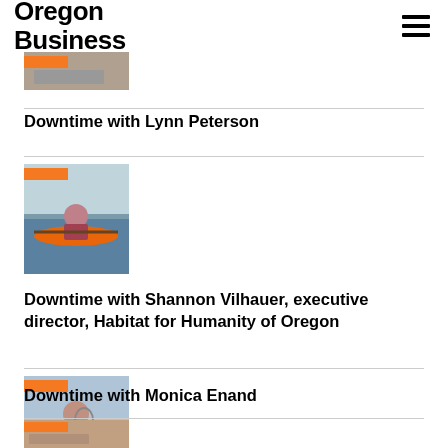Oregon Business
[Figure (photo): Partial thumbnail image of article about Lynn Peterson]
Downtime with Lynn Peterson
[Figure (photo): Person kayaking in an orange kayak on water]
Downtime with Shannon Vilhauer, executive director, Habitat for Humanity of Oregon
[Figure (photo): Person holding a tennis racket outdoors]
Downtime with Monica Enand
[Figure (photo): Partial thumbnail of next article at bottom of page]